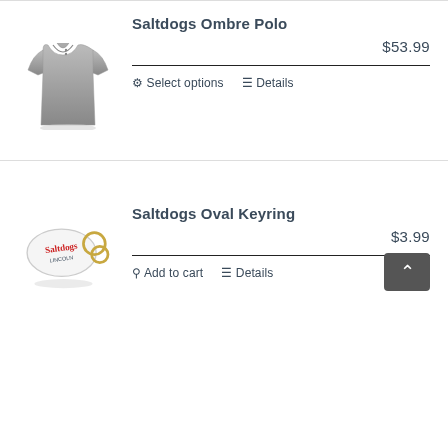[Figure (photo): Gray ombre polo shirt product photo]
Saltdogs Ombre Polo
$53.99
Select options   Details
[Figure (photo): Saltdogs oval keyring product photo with gold rings]
Saltdogs Oval Keyring
$3.99
Add to cart   Details